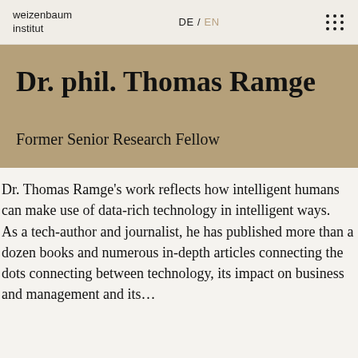weizenbaum institut | DE / EN
Dr. phil. Thomas Ramge
Former Senior Research Fellow
Dr. Thomas Ramge's work reflects how intelligent humans can make use of data-rich technology in intelligent ways. As a tech-author and journalist, he has published more than a dozen books and numerous in-depth articles connecting the dots connecting between technology, its impact on business and management and its…